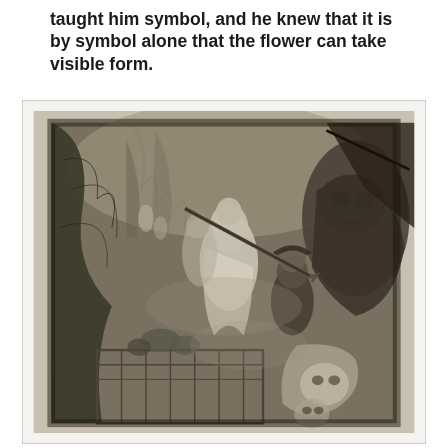taught him symbol, and he knew that it is by symbol alone that the flower can take visible form.
[Figure (illustration): A dark, dramatic engraving or etching depicting a fantastical or mythological scene. In the center, a figure holds a long staff or weapon aimed at ethereal, ghostly female figures on the left, surrounded by swirling foliage and smoke. On the upper right, a large monstrous or demonic face is visible. In the lower portion, a bed or cage-like structure is visible with shadowy figures and faces below. The overall atmosphere is dark and dreamlike.]